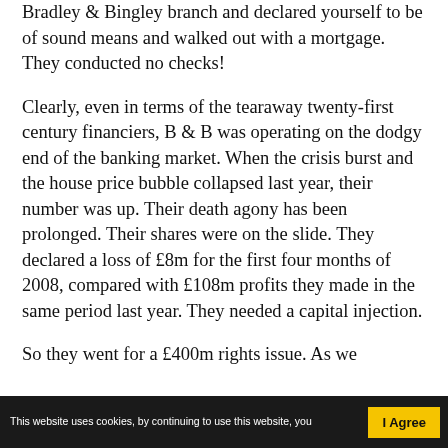Bradley & Bingley branch and declared yourself to be of sound means and walked out with a mortgage. They conducted no checks!
Clearly, even in terms of the tearaway twenty-first century financiers, B & B was operating on the dodgy end of the banking market. When the crisis burst and the house price bubble collapsed last year, their number was up. Their death agony has been prolonged. Their shares were on the slide. They declared a loss of £8m for the first four months of 2008, compared with £108m profits they made in the same period last year. They needed a capital injection.
So they went for a £400m rights issue. As we
This website uses cookies, by continuing to use this website, you